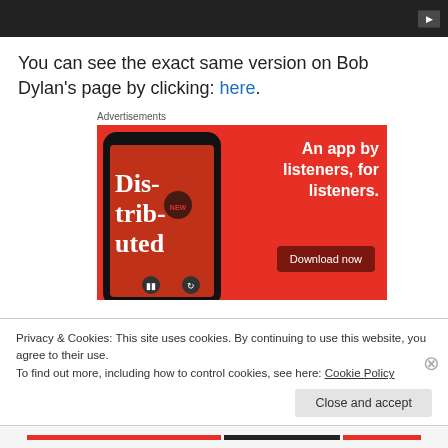[Figure (screenshot): Dark video bar with play button icon in top right corner]
You can see the exact same version on Bob Dylan’s page by clicking: here.
Advertisements
[Figure (illustration): Red advertisement banner for a podcast app reading 'An app by listeners, for listeners.' with a smartphone showing 'Dis-trib-uted' podcast and a 'Download now' button]
Privacy & Cookies: This site uses cookies. By continuing to use this website, you agree to their use.
To find out more, including how to control cookies, see here: Cookie Policy
Close and accept